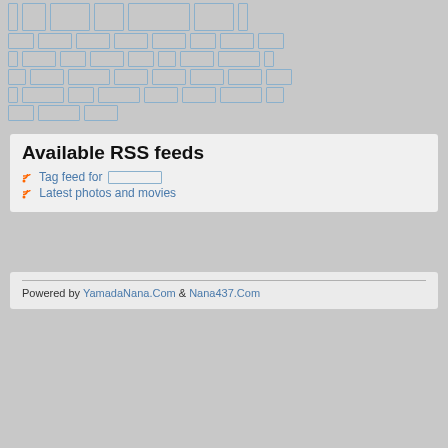[Placeholder Japanese/CJK text block with RSS feed information]
Available RSS feeds
Tag feed for [placeholder text]
Latest photos and movies
Powered by YamadaNana.Com & Nana437.Com